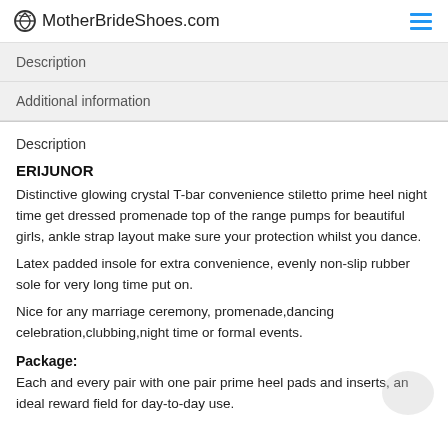MotherBrideShoes.com
Description
Additional information
Description
ERIJUNOR
Distinctive glowing crystal T-bar convenience stiletto prime heel night time get dressed promenade top of the range pumps for beautiful girls, ankle strap layout make sure your protection whilst you dance.
Latex padded insole for extra convenience, evenly non-slip rubber sole for very long time put on.
Nice for any marriage ceremony, promenade,dancing celebration,clubbing,night time or formal events.
Package:
Each and every pair with one pair prime heel pads and inserts, an ideal reward field for day-to-day use.